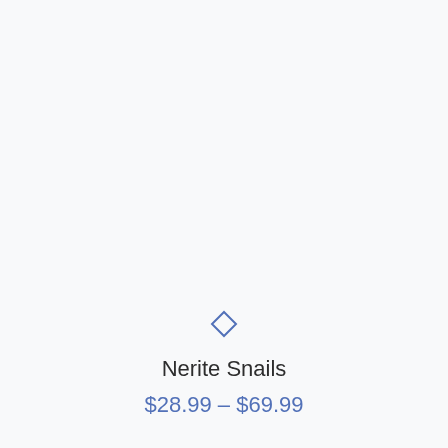[Figure (illustration): Diamond/rhombus outline icon in blue color, centered above product name]
Nerite Snails
$28.99 – $69.99